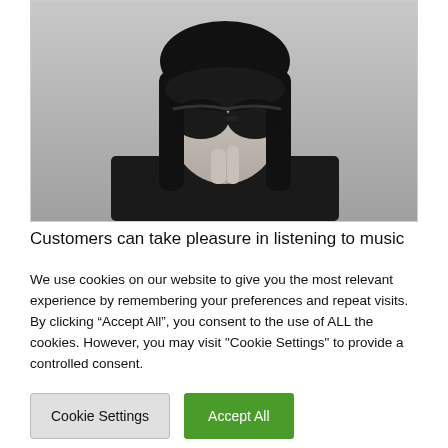[Figure (photo): Black and white portrait photo of a young woman with straight black hair and bangs wearing dark sunglasses, holding her hand up to her face]
Customers can take pleasure in listening to music
We use cookies on our website to give you the most relevant experience by remembering your preferences and repeat visits. By clicking “Accept All”, you consent to the use of ALL the cookies. However, you may visit "Cookie Settings" to provide a controlled consent.